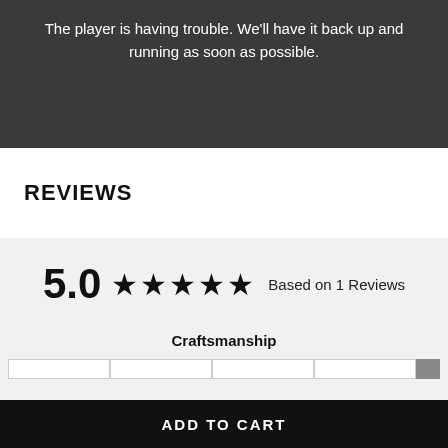[Figure (other): Dark video player overlay showing error message on a blurred background image of people working]
The player is having trouble. We'll have it back up and running as soon as possible.
REVIEWS
5.0 ★★★★★ Based on 1 Reviews
Craftsmanship
ADD TO CART